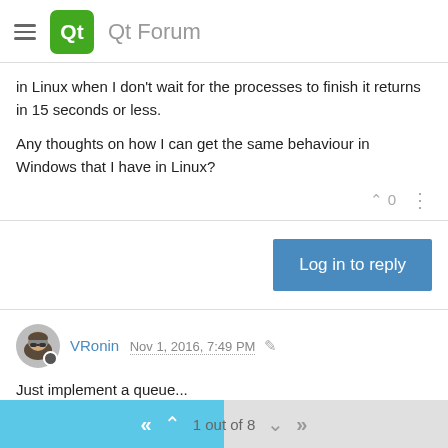Qt Forum
in Linux when I don't wait for the processes to finish it returns in 15 seconds or less.
Any thoughts on how I can get the same behaviour in Windows that I have in Linux?
Log in to reply
VRonin Nov 1, 2016, 7:49 PM
Just implement a queue...
private:
enum : int { MaxNumOfProcesses = 61 };
1 out of 8